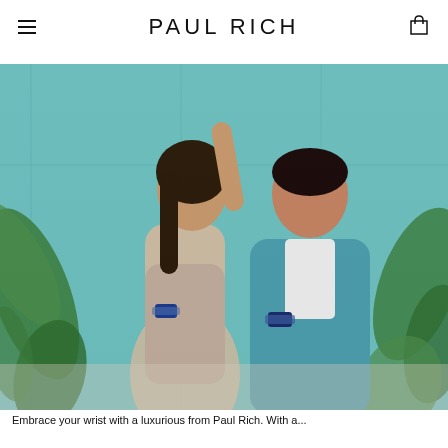PAUL RICH
[Figure (photo): A man and woman posing together against a teal/turquoise background with tropical leaves. The woman wears a floral off-shoulder dress and a blue watch; the man wears a teal blazer and a blue watch. Both are models showcasing Paul Rich watches.]
Embrace your wrist with a luxurious from Paul Rich. With a...